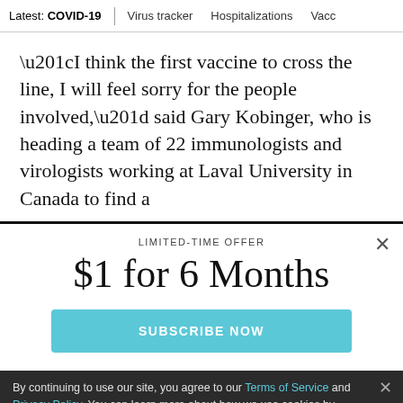Latest: COVID-19 | Virus tracker | Hospitalizations | Vacci
“I think the first vaccine to cross the line, I will feel sorry for the people involved,” said Gary Kobinger, who is heading a team of 22 immunologists and virologists working at Laval University in Canada to find a
LIMITED-TIME OFFER
$1 for 6 Months
SUBSCRIBE NOW
By continuing to use our site, you agree to our Terms of Service and Privacy Policy. You can learn more about how we use cookies by reviewing our Privacy Policy. Close